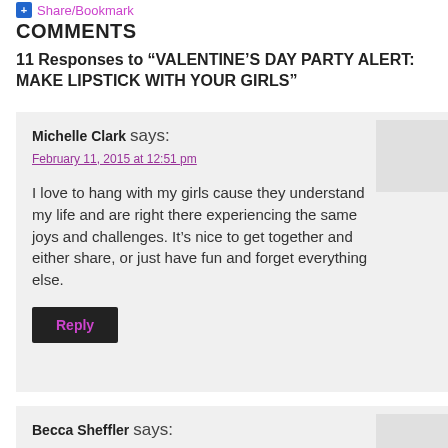Share/Bookmark
COMMENTS
11 Responses to “VALENTINE’S DAY PARTY ALERT: MAKE LIPSTICK WITH YOUR GIRLS”
Michelle Clark says:
February 11, 2015 at 12:51 pm
I love to hang with my girls cause they understand my life and are right there experiencing the same joys and challenges. It’s nice to get together and either share, or just have fun and forget everything else.
Becca Sheffler says:
February 11, 2015 at 6:43 pm
I love hanging out with my best friend Lea